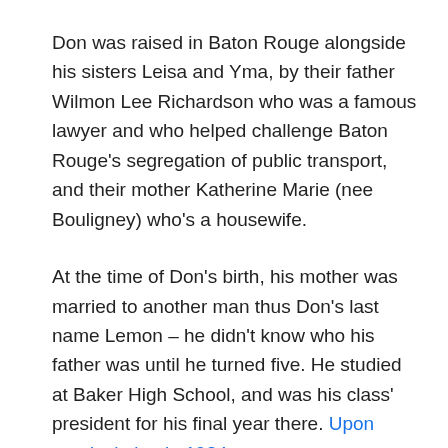Don was raised in Baton Rouge alongside his sisters Leisa and Yma, by their father Wilmon Lee Richardson who was a famous lawyer and who helped challenge Baton Rouge's segregation of public transport, and their mother Katherine Marie (nee Bouligney) who's a housewife.
At the time of Don's birth, his mother was married to another man thus Don's last name Lemon – he didn't know who his father was until he turned five. He studied at Baker High School, and was his class' president for his final year there. Upon matriculating in 1984…